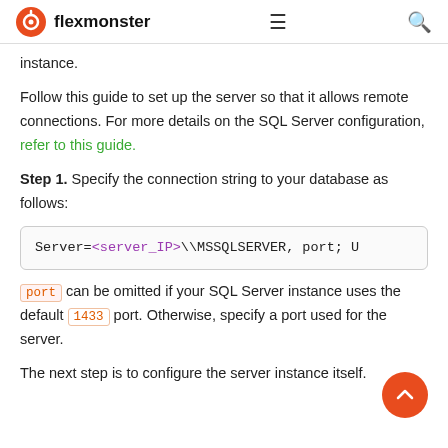flexmonster
instance.
Follow this guide to set up the server so that it allows remote connections. For more details on the SQL Server configuration, refer to this guide.
Step 1. Specify the connection string to your database as follows:
port can be omitted if your SQL Server instance uses the default 1433 port. Otherwise, specify a port used for the server.
The next step is to configure the server instance itself.